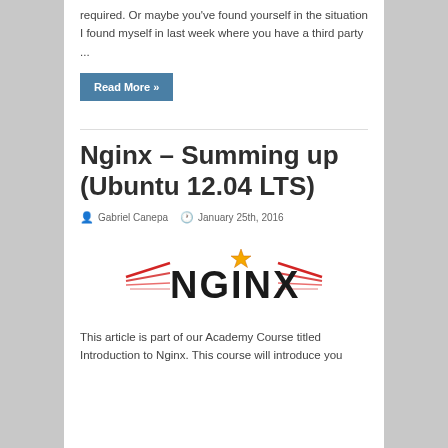required. Or maybe you've found yourself in the situation I found myself in last week where you have a third party ...
Read More »
Nginx – Summing up (Ubuntu 12.04 LTS)
Gabriel Canepa   January 25th, 2016
[Figure (logo): Nginx logo with stylized black text and red wing-like streaks on either side, with a star above the letter i]
This article is part of our Academy Course titled Introduction to Nginx. This course will introduce you